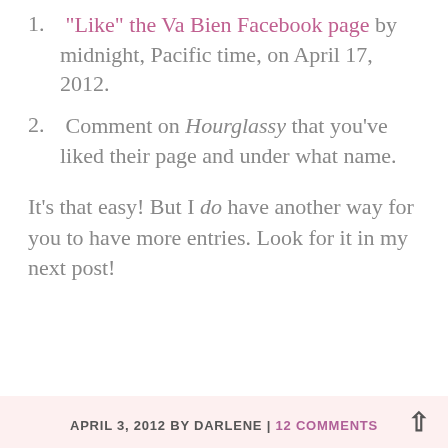1. "Like" the Va Bien Facebook page by midnight, Pacific time, on April 17, 2012.
2. Comment on Hourglassy that you've liked their page and under what name.
It's that easy! But I do have another way for you to have more entries. Look for it in my next post!
APRIL 3, 2012 BY DARLENE | 12 COMMENTS